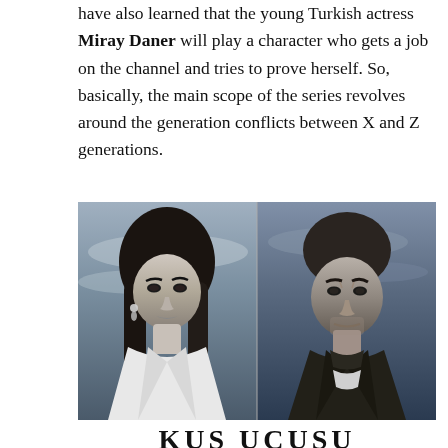have also learned that the young Turkish actress Miray Daner will play a character who gets a job on the channel and tries to prove herself. So, basically, the main scope of the series revolves around the generation conflicts between X and Z generations.
[Figure (photo): Side-by-side black and white promotional photos of two actors (a woman on the left, a man on the right) against a cloudy/sky background. The woman has long dark hair and wears a white blazer. The man has short dark hair and wears a dark jacket.]
KUS UCUSU